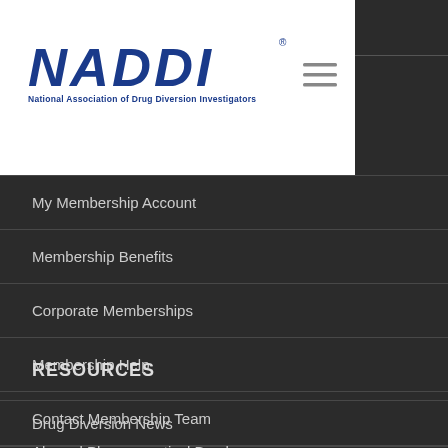[Figure (logo): NADDI – National Association of Drug Diversion Investigators logo with blue stylized text and subtitle]
My Membership Account
Membership Benefits
Corporate Memberships
Membership Help
Contact Membership Team
RESOURCES
Drug Diversion News
Abused Pharmaceutical Brochures